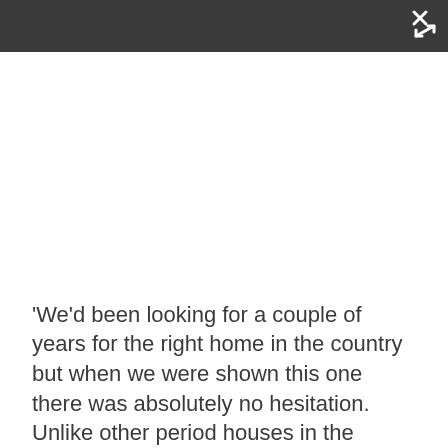[Figure (other): Dark grey top bar with a white close/expand icon in the top-right corner]
'We'd been looking for a couple of years for the right home in the country but when we were shown this one there was absolutely no hesitation. Unlike other period houses in the